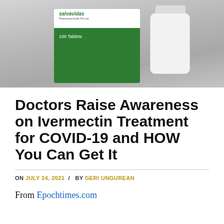[Figure (photo): Photo of Salvavidas pharmaceutical green pill/tablet box labeled '100 Tablets' next to a white medicine bottle, on a light gray surface]
Doctors Raise Awareness on Ivermectin Treatment for COVID-19 and HOW You Can Get It
ON JULY 24, 2021 / BY GERI UNGUREAN
From Epochtimes.com